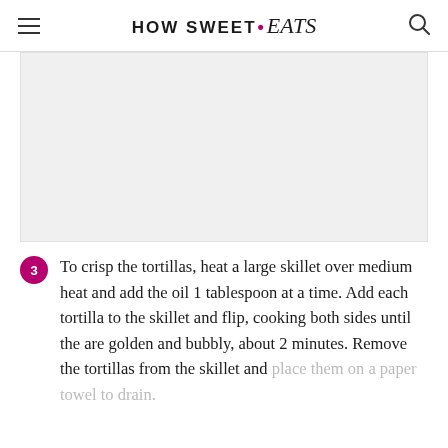HOW SWEET • eats
[Figure (photo): Gray placeholder image area representing a food photo]
To crisp the tortillas, heat a large skillet over medium heat and add the oil 1 tablespoon at a time. Add each tortilla to the skillet and flip, cooking both sides until the are golden and bubbly, about 2 minutes. Remove the tortillas from the skillet and place them on a paper towel to drain.